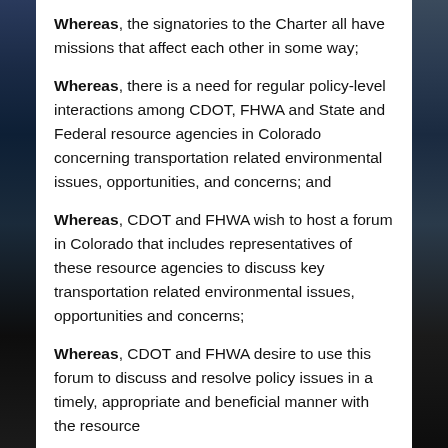Whereas, the signatories to the Charter all have missions that affect each other in some way;
Whereas, there is a need for regular policy-level interactions among CDOT, FHWA and State and Federal resource agencies in Colorado concerning transportation related environmental issues, opportunities, and concerns; and
Whereas, CDOT and FHWA wish to host a forum in Colorado that includes representatives of these resource agencies to discuss key transportation related environmental issues, opportunities and concerns;
Whereas, CDOT and FHWA desire to use this forum to discuss and resolve policy issues in a timely, appropriate and beneficial manner with the resource